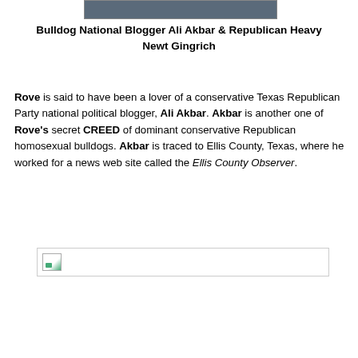[Figure (photo): Partial photo at top of page, appears to be two people]
Bulldog National Blogger Ali Akbar & Republican Heavy Newt Gingrich
Rove is said to have been a lover of a conservative Texas Republican Party national political blogger, Ali Akbar. Akbar is another one of Rove's secret CREED of dominant conservative Republican homosexual bulldogs. Akbar is traced to Ellis County, Texas, where he worked for a news web site called the Ellis County Observer.
[Figure (photo): Broken/missing image placeholder at bottom]